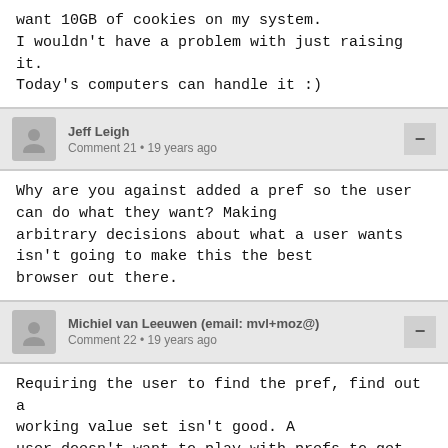want 10GB of cookies on my system.
I wouldn't have a problem with just raising it.
Today's computers can handle it :)
Jeff Leigh
Comment 21 • 19 years ago
Why are you against added a pref so the user can do what they want? Making arbitrary decisions about what a user wants isn't going to make this the best browser out there.
Michiel van Leeuwen (email: mvl+moz@)
Comment 22 • 19 years ago
Requiring the user to find the pref, find out a working value set isn't good. A user doesn't want to play with prefs to get his browser working.
Making it so that is just works(tm) is good.